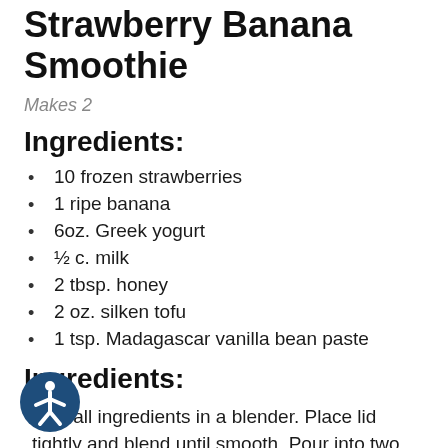Strawberry Banana Smoothie
Makes 2
Ingredients:
10 frozen strawberries
1 ripe banana
6oz. Greek yogurt
½ c. milk
2 tbsp. honey
2 oz. silken tofu
1 tsp. Madagascar vanilla bean paste
Ingredients:
bine all ingredients in a blender. Place lid tightly and blend until smooth. Pour into two